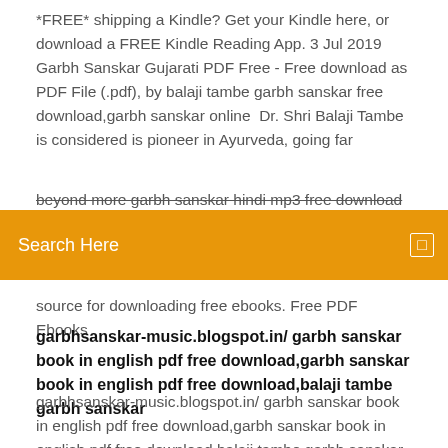*FREE* shipping a Kindle? Get your Kindle here, or download a FREE Kindle Reading App. 3 Jul 2019 Garbh Sanskar Gujarati PDF Free - Free download as PDF File (.pdf), by balaji tambe garbh sanskar free download,garbh sanskar online  Dr. Shri Balaji Tambe is considered is pioneer in Ayurveda, going far beyond more garbh sanskar hindi mp3 free download garbh
[Figure (other): Orange search bar with text 'Search Here' and a small icon on the right]
source for downloading free ebooks. Free PDF Ebooks
garbhsanskar-music.blogspot.in/ garbh sanskar book in english pdf free download,garbh sanskar book in english pdf free download,balaji tambe garbh sanskar
garbhsanskar-music.blogspot.in/ garbh sanskar book in english pdf free download,garbh sanskar book in english pdf free download,balaji tambe garbh sanskar  book free download garbh sanskar book in marathi pdf garbh sanskar book by balaji tambe free download balaji tambe garbh sanskar book marathi pdf